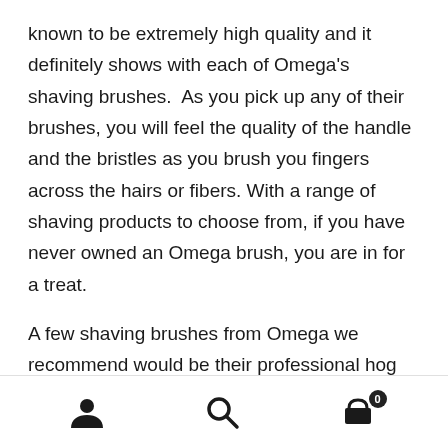known to be extremely high quality and it definitely shows with each of Omega's shaving brushes. As you pick up any of their brushes, you will feel the quality of the handle and the bristles as you brush you fingers across the hairs or fibers. With a range of shaving products to choose from, if you have never owned an Omega brush, you are in for a treat.
A few shaving brushes from Omega we recommend would be their professional hog hair shaving brush which has tough hair fibers made to lift up the hairs on your skin and is also quite affordable for those not looking to spend
[user icon] [search icon] [cart icon with badge 0]